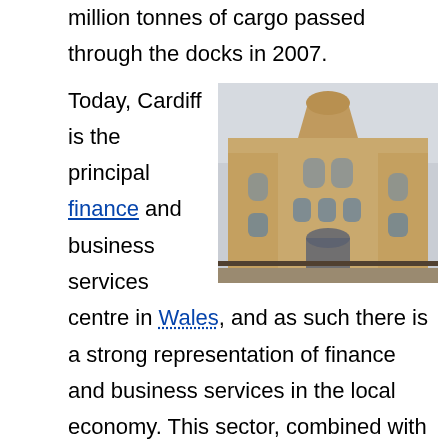million tonnes of cargo passed through the docks in 2007.
[Figure (photo): Photograph of a large ornate stone building in Cardiff, showing Victorian architecture with arched windows and decorative stonework facade.]
Today, Cardiff is the principal finance and business services centre in Wales, and as such there is a strong representation of finance and business services in the local economy. This sector, combined with the Public Administration, Education and Health sectors, have accounted for around 75% of Cardiff's economic growth since 1991. The city was recently placed seventh overall in the top 50 European cities in the fDI 2008 Cities of the